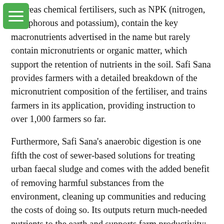whereas chemical fertilisers, such as NPK (nitrogen, phosphorous and potassium), contain the key macronutrients advertised in the name but rarely contain micronutrients or organic matter, which support the retention of nutrients in the soil. Safi Sana provides farmers with a detailed breakdown of the micronutrient composition of the fertiliser, and trains farmers in its application, providing instruction to over 1,000 farmers so far.
Furthermore, Safi Sana's anaerobic digestion is one fifth the cost of sewer-based solutions for treating urban faecal sludge and comes with the added benefit of removing harmful substances from the environment, cleaning up communities and reducing the costs of doing so. Its outputs return much-needed nutrients to the earth and supports farm productivity; field trials conducted by the company showed 30 per cent yield improvement and an extended shelf-life of crops, reducing waste further.
Tricky terrain